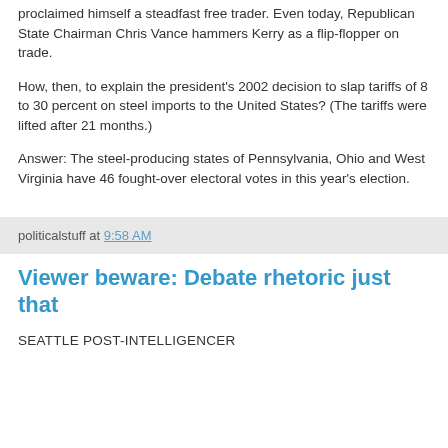proclaimed himself a steadfast free trader. Even today, Republican State Chairman Chris Vance hammers Kerry as a flip-flopper on trade.
How, then, to explain the president's 2002 decision to slap tariffs of 8 to 30 percent on steel imports to the United States? (The tariffs were lifted after 21 months.)
Answer: The steel-producing states of Pennsylvania, Ohio and West Virginia have 46 fought-over electoral votes in this year's election.
politicalstuff at 9:58 AM
Viewer beware: Debate rhetoric just that
SEATTLE POST-INTELLIGENCER